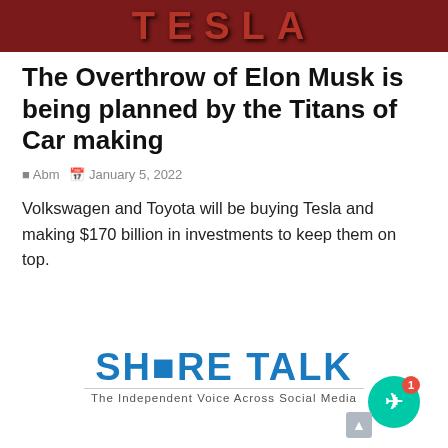[Figure (photo): Tesla logo banner with dark red background]
The Overthrow of Elon Musk is being planned by the Titans of Car making
Abm  January 5, 2022
Volkswagen and Toyota will be buying Tesla and making $170 billion in investments to keep them on top.
[Figure (logo): Share Talk logo — The Independent Voice Across Social Media]